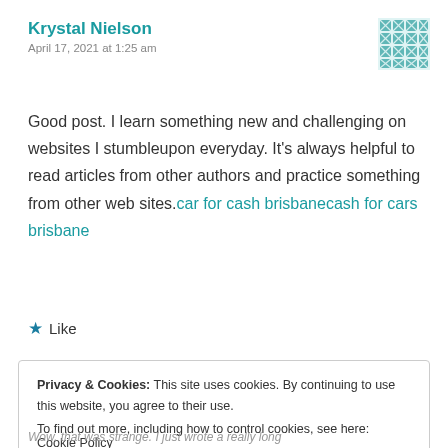Krystal Nielson
April 17, 2021 at 1:25 am
Good post. I learn something new and challenging on websites I stumbleupon everyday. It's always helpful to read articles from other authors and practice something from other web sites.car for cash brisbanecash for cars brisbane
★ Like
Privacy & Cookies: This site uses cookies. By continuing to use this website, you agree to their use.
To find out more, including how to control cookies, see here: Cookie Policy
Close and accept
Wow, that was strange. I just wrote a really long